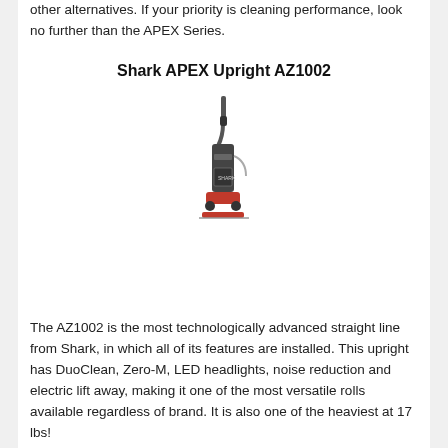other alternatives. If your priority is cleaning performance, look no further than the APEX Series.
Shark APEX Upright AZ1002
[Figure (photo): Photo of Shark APEX Upright AZ1002 vacuum cleaner, shown in full upright position with red base.]
Choice price
The AZ1002 is the most technologically advanced straight line from Shark, in which all of its features are installed. This upright has DuoClean, Zero-M, LED headlights, noise reduction and electric lift away, making it one of the most versatile rolls available regardless of brand. It is also one of the heaviest at 17 lbs!